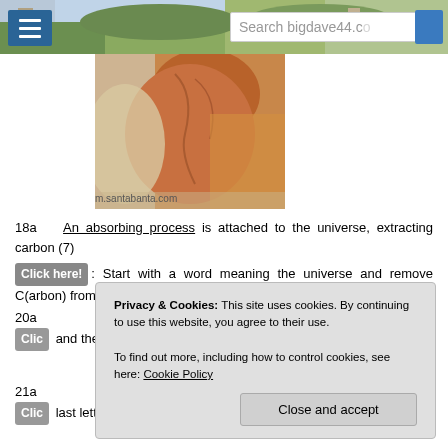Search bigdave44.co
[Figure (photo): Painting or illustration of a person's back/neck muscles, warm tones. Watermarked m.santabanta.com]
18a   An absorbing process is attached to the universe, extracting carbon (7)
Click here!: Start with a word meaning the universe and remove C(arbon) from the start of this then add IS from the clue.
20a
Clic and then
21a
Clic last letter.
Privacy & Cookies: This site uses cookies. By continuing to use this website, you agree to their use.
To find out more, including how to control cookies, see here: Cookie Policy
Close and accept